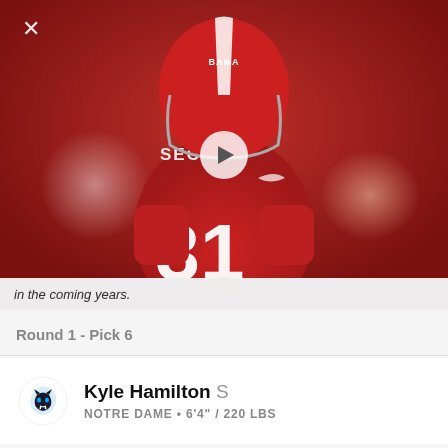[Figure (photo): A football player wearing a red Alabama Crimson Tide jersey with number 31 and SEC logo, helmet on, in game setting. A video play button is overlaid in the center.]
in the coming years.
Round 1 - Pick 6
Kyle Hamilton S
NOTRE DAME • 6'4" / 220 LBS